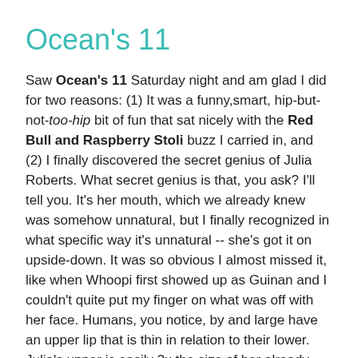Ocean's 11
Saw Ocean's 11 Saturday night and am glad I did for two reasons: (1) It was a funny,smart, hip-but-not-too-hip bit of fun that sat nicely with the Red Bull and Raspberry Stoli buzz I carried in, and (2) I finally discovered the secret genius of Julia Roberts. What secret genius is that, you ask? I'll tell you. It's her mouth, which we already knew was somehow unnatural, but I finally recognized in what specific way it's unnatural -- she's got it on upside-down. It was so obvious I almost missed it, like when Whoopi first showed up as Guinan and I couldn't quite put my finger on what was off with her face. Humans, you notice, by and large have an upper lip that is thin in relation to their lower. Julia's upper is easily 3x the size of her already Jagger-esque lower. Once you realize what she's done, the full monstrousness of it hits you. I have a feeling she'd've had her nose done up that way too if she weren't afraid of drowning in the shower. It's freakish and insane and I'm so glad she and her surgical abomination of a piehole had only a few minutes of screen ti…